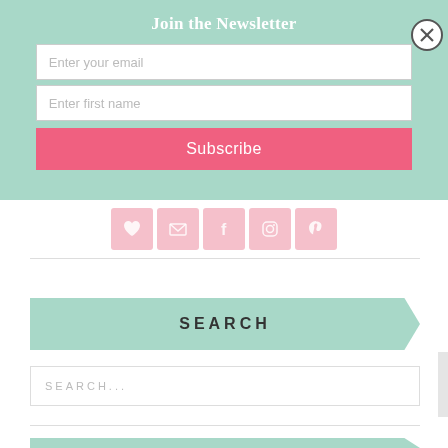Join the Newsletter
Enter your email
Enter first name
Subscribe
[Figure (infographic): Social media icon buttons: heart, email/envelope, Facebook, Instagram, Pinterest — square pink rounded icons in a row]
SEARCH
SEARCH...